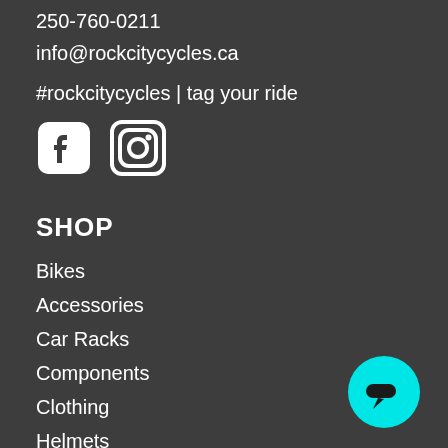250-760-0211
info@rockcitycycles.ca
#rockcitycycles | tag your ride
[Figure (illustration): Facebook and Instagram social media icons side by side]
SHOP
Bikes
Accessories
Car Racks
Components
Clothing
Helmets
Shoes
Sale
[Figure (illustration): Cyan circular chat bubble button with speech bubble icon]
SERVICES